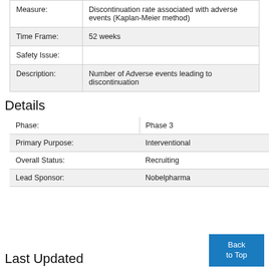| Measure: | Discontinuation rate associated with adverse events (Kaplan-Meier method) |
| Time Frame: | 52 weeks |
| Safety Issue: |  |
| Description: | Number of Adverse events leading to discontinuation |
Details
| Phase: | Phase 3 |
| Primary Purpose: | Interventional |
| Overall Status: | Recruiting |
| Lead Sponsor: | Nobelpharma |
Last Updated